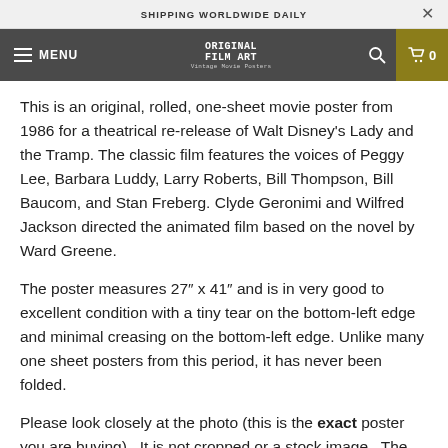SHIPPING WORLDWIDE DAILY
ORIGINAL FILM ART Vintage Movie Posters
This is an original, rolled, one-sheet movie poster from 1986 for a theatrical re-release of Walt Disney's Lady and the Tramp. The classic film features the voices of Peggy Lee, Barbara Luddy, Larry Roberts, Bill Thompson, Bill Baucom, and Stan Freberg. Clyde Geronimi and Wilfred Jackson directed the animated film based on the novel by Ward Greene.
The poster measures 27″ x 41″ and is in very good to excellent condition with a tiny tear on the bottom-left edge and minimal creasing on the bottom-left edge. Unlike many one sheet posters from this period, it has never been folded.
Please look closely at the photo (this is the exact poster you are buying). It is not cropped or a stock image. The black squares in the corners of the poster are magnets and